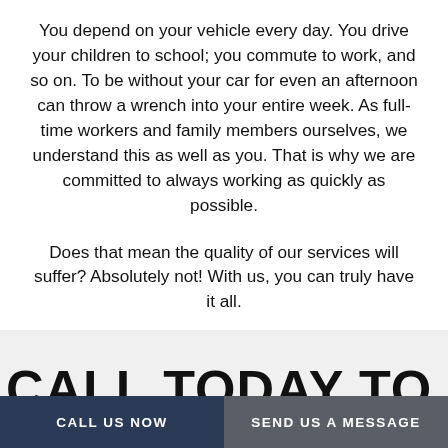You depend on your vehicle every day. You drive your children to school; you commute to work, and so on. To be without your car for even an afternoon can throw a wrench into your entire week. As full-time workers and family members ourselves, we understand this as well as you. That is why we are committed to always working as quickly as possible.
Does that mean the quality of our services will suffer? Absolutely not! With us, you can truly have it all.
CALL TODAY TO REQUEST OUR
CALL US NOW
SEND US A MESSAGE